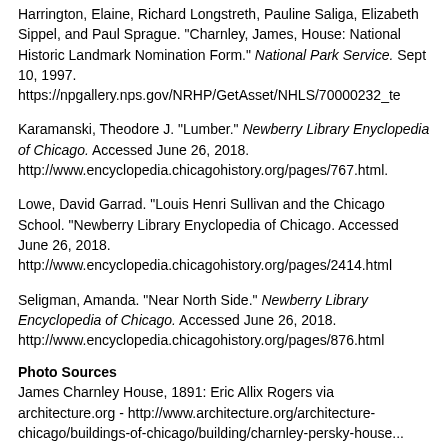Harrington, Elaine, Richard Longstreth, Pauline Saliga, Elizabeth Sippel, and Paul Sprague. "Charnley, James, House: National Historic Landmark Nomination Form." National Park Service. Sept 10, 1997. https://npgallery.nps.gov/NRHP/GetAsset/NHLS/70000232_te
Karamanski, Theodore J. "Lumber." Newberry Library Enyclopedia of Chicago. Accessed June 26, 2018. http://www.encyclopedia.chicagohistory.org/pages/767.html.
Lowe, David Garrad. "Louis Henri Sullivan and the Chicago School. "Newberry Library Enyclopedia of Chicago. Accessed June 26, 2018. http://www.encyclopedia.chicagohistory.org/pages/2414.html
Seligman, Amanda. "Near North Side." Newberry Library Encyclopedia of Chicago. Accessed June 26, 2018. http://www.encyclopedia.chicagohistory.org/pages/876.html
Photo Sources
James Charnley House, 1891: Eric Allix Rogers via architecture.org - http://www.architecture.org/architecture-chicago/buildings-of-chicago/building/charnley-persky-house...
Sullivan and Wright: Ryerson and Burnham Libraries/Frank Lloyd